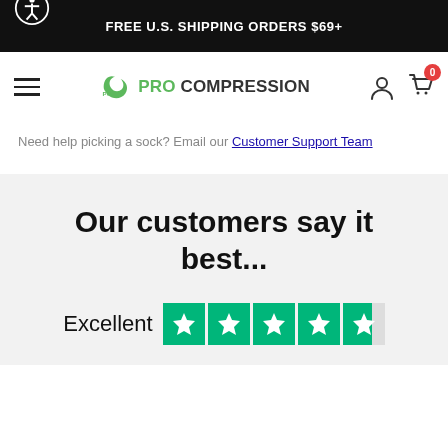FREE U.S. SHIPPING ORDERS $69+
[Figure (logo): Pro Compression logo with PC icon in green and black text]
Need help picking a sock? Email our Customer Support Team
Our customers say it best...
Excellent [Trustpilot 5-star rating]